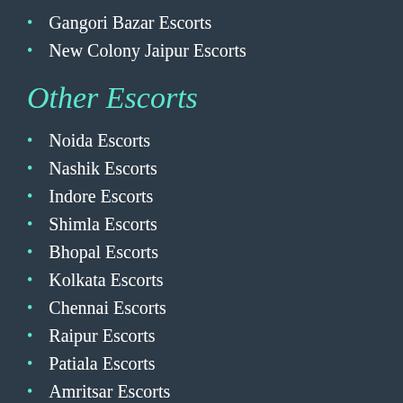Gangori Bazar Escorts
New Colony Jaipur Escorts
Other Escorts
Noida Escorts
Nashik Escorts
Indore Escorts
Shimla Escorts
Bhopal Escorts
Kolkata Escorts
Chennai Escorts
Raipur Escorts
Patiala Escorts
Amritsar Escorts
Jalandar Escorts
Faridabad Escorts